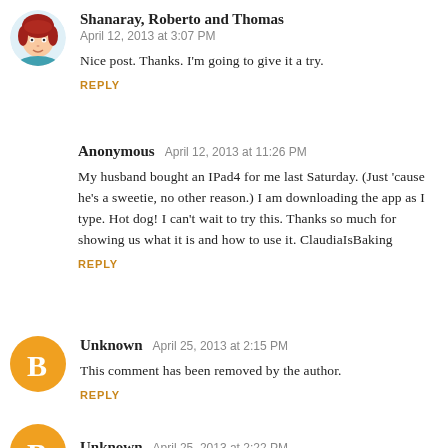[Figure (illustration): Circular avatar of a cartoon woman with red hair]
Shanaray, Roberto and Thomas
April 12, 2013 at 3:07 PM
Nice post. Thanks. I'm going to give it a try.
REPLY
Anonymous   April 12, 2013 at 11:26 PM
My husband bought an IPad4 for me last Saturday. (Just 'cause he's a sweetie, no other reason.) I am downloading the app as I type. Hot dog! I can't wait to try this. Thanks so much for showing us what it is and how to use it. ClaudiaIsBaking
REPLY
[Figure (illustration): Orange circular blogger icon with white B letter]
Unknown   April 25, 2013 at 2:15 PM
This comment has been removed by the author.
REPLY
[Figure (illustration): Orange circular blogger icon with white B letter]
Unknown   April 25, 2013 at 2:22 PM